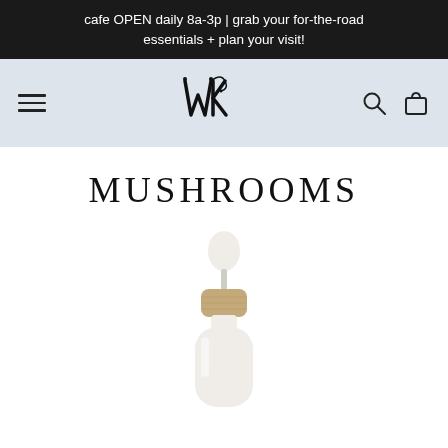cafe OPEN daily 8a-3p | grab your for-the-road essentials + plan your visit!
[Figure (logo): Navigation header with hamburger menu, stylized WK monogram logo, search icon, and shopping bag icon on a light blue-gray background]
MUSHROOMS
[Figure (photo): White dropper bottle with bamboo/wood cap and white rubber dropper bulb, partially visible from the top portion of the bottle]